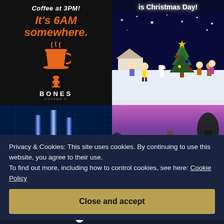[Figure (illustration): Dark background card for Bones Coffee with text 'Coffee at 3 PM! It's 6AM somewhere.' and a coffee cup icon and Bones Coffee logo]
[Figure (illustration): Dark night sky background with 'is Christmas Day!' text and Peanuts characters (Charlie Brown, Snoopy, Lucy, Linus, etc.) standing near a Christmas tree]
[Figure (photo): Dark stage/theater scene with tall illuminated vertical structures and a dark foreground, blue lighting background]
[Figure (photo): Photo of a house exterior at dusk/twilight with purple-pink sky and trees, warm interior lights visible]
Privacy & Cookies: This site uses cookies. By continuing to use this website, you agree to their use.
To find out more, including how to control cookies, see here: Cookie Policy
Close and accept
course with WordPress